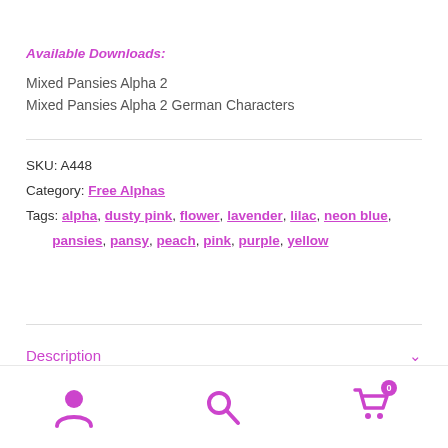Available Downloads:
Mixed Pansies Alpha 2
Mixed Pansies Alpha 2 German Characters
SKU: A448
Category: Free Alphas
Tags: alpha, dusty pink, flower, lavender, lilac, neon blue, pansies, pansy, peach, pink, purple, yellow
Description
[Figure (infographic): Bottom navigation bar with user account icon, search icon, and shopping cart icon with badge showing 0]